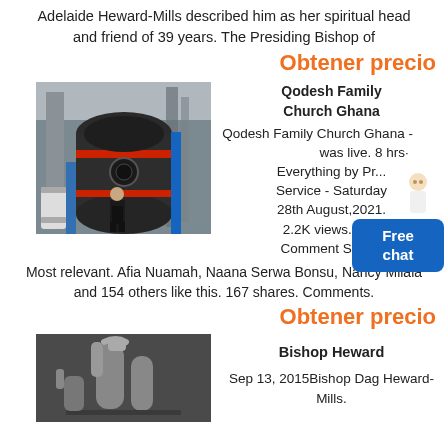Adelaide Heward-Mills described him as her spiritual head and friend of 39 years. The Presiding Bishop of
Obtener precio
[Figure (photo): Industrial mill machine with a person standing next to it in a factory setting]
Qodesh Family Church Ghana
Qodesh Family Church Ghana - was live. 8 hrs. Everything by Pr... Service - Saturday 28th August,2021. 2.2K views. Like Comment Share.
Most relevant. Afia Nuamah, Naana Serwa Bonsu, Nancy Milala and 154 others like this. 167 shares. Comments.
Obtener precio
[Figure (photo): Industrial dust collection or filter equipment on dark background]
Bishop Heward
Sep 13, 2015Bishop Dag Heward-Mills.